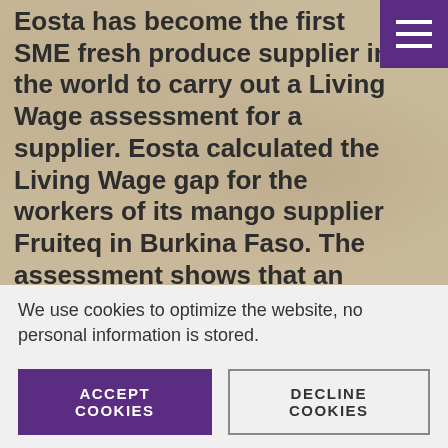Eosta has become the first SME fresh produce supplier in the world to carry out a Living Wage assessment for a supplier. Eosta calculated the Living Wage gap for the workers of its mango supplier Fruiteq in Burkina Faso. The assessment shows that an additional cost of 10 cents per kilo of mangoes would suffice to close the pay gap for all 199 employees. Together with customers and
We use cookies to optimize the website, no personal information is stored.